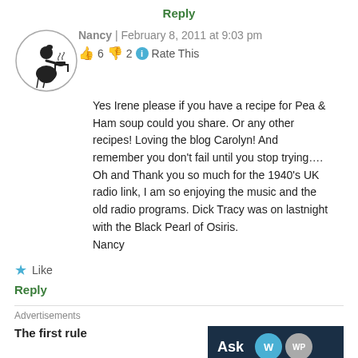Reply
[Figure (illustration): Circular avatar with silhouette of a woman cooking at a stove/table]
Nancy | February 8, 2011 at 9:03 pm
👍 6 👎 2 ℹ Rate This
Yes Irene please if you have a recipe for Pea & Ham soup could you share. Or any other recipes! Loving the blog Carolyn! And remember you don't fail until you stop trying….
Oh and Thank you so much for the 1940's UK radio link, I am so enjoying the music and the old radio programs. Dick Tracy was on lastnight with the Black Pearl of Osiris.
Nancy
★ Like
Reply
Advertisements
The first rule
Ask